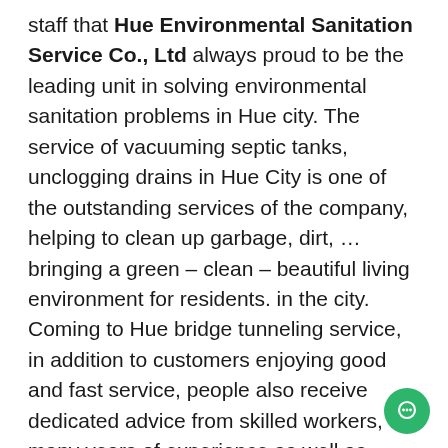staff that Hue Environmental Sanitation Service Co., Ltd always proud to be the leading unit in solving environmental sanitation problems in Hue city. The service of vacuuming septic tanks, unclogging drains in Hue City is one of the outstanding services of the company, helping to clean up garbage, dirt, … bringing a green – clean – beautiful living environment for residents. in the city. Coming to Hue bridge tunneling service, in addition to customers enjoying good and fast service, people also receive dedicated advice from skilled workers, many years of experience as well as knowledgeable about the system. household drainage. Therefore, customers will get the best and fastest service. Reduce the inconvenience of long waiting to solve the problem as well as limit the destruction that affects the property as well as the health of the Customer. In addition to Hue sanitary tunnel suction service, the unit is also a place to train construction